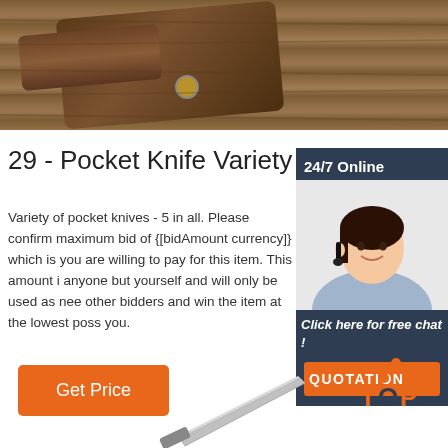[Figure (photo): Top image showing wooden surface with a leather knife sheath and knife handle visible]
29 - Pocket Knife Variety
Variety of pocket knives - 5 in all. Please confirm maximum bid of {[bidAmount currency]} which is you are willing to pay for this item. This amount i anyone but yourself and will only be used as nee other bidders and win the item at the lowest poss you.
[Figure (photo): Sidebar showing a customer service representative with headset, 24/7 Online label, Click here for free chat! text, and QUOTATION button]
[Figure (illustration): Get Price orange button]
[Figure (logo): TOP logo with orange dots arranged in triangle and TOP text in orange and dark blue]
[Figure (photo): Partial image of a pocket knife blade visible at the bottom center of the page]